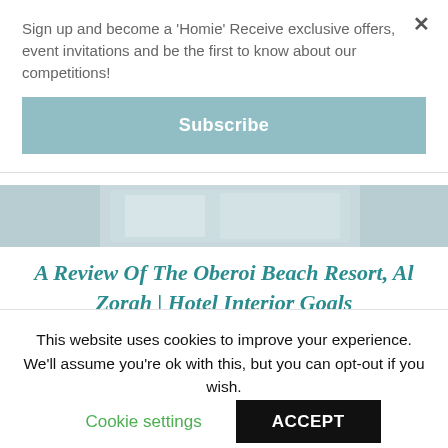Sign up and become a 'Homie' Receive exclusive offers, event invitations and be the first to know about our competitions!
Subscribe
A Review Of The Oberoi Beach Resort, Al Zorah | Hotel Interior Goals
[Figure (photo): Partial view of hotel interior or beach resort image strip]
[Figure (photo): Second article preview image showing a person from behind near a wall]
This website uses cookies to improve your experience. We'll assume you're ok with this, but you can opt-out if you wish.
Cookie settings
ACCEPT